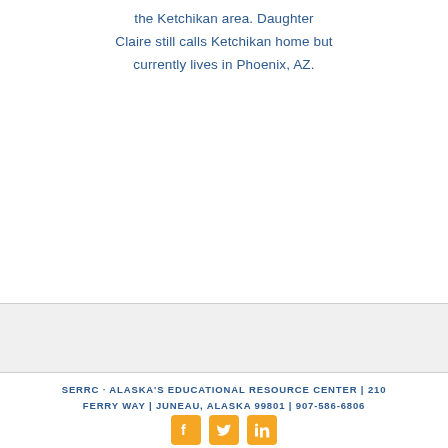the Ketchikan area. Daughter Claire still calls Ketchikan home but currently lives in Phoenix, AZ.
SERRC · ALASKA'S EDUCATIONAL RESOURCE CENTER | 210 FERRY WAY | JUNEAU, ALASKA 99801 | 907-586-6806